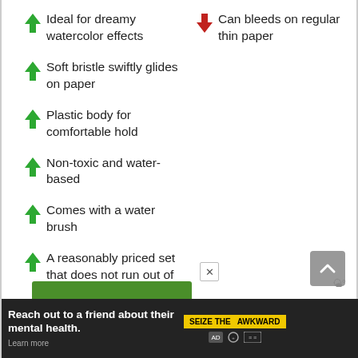Ideal for dreamy watercolor effects
Soft bristle swiftly glides on paper
Plastic body for comfortable hold
Non-toxic and water-based
Comes with a water brush
A reasonably priced set that does not run out of ink quickly
Can bleeds on regular thin paper
[Figure (screenshot): Partial green image strip and ad banner at bottom of page]